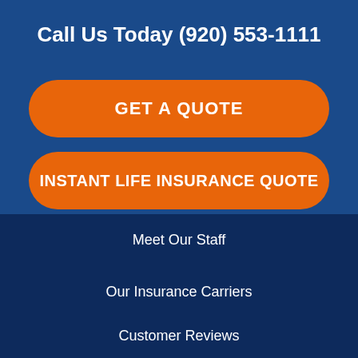Call Us Today (920) 553-1111
GET A QUOTE
INSTANT LIFE INSURANCE QUOTE
Meet Our Staff
Our Insurance Carriers
Customer Reviews